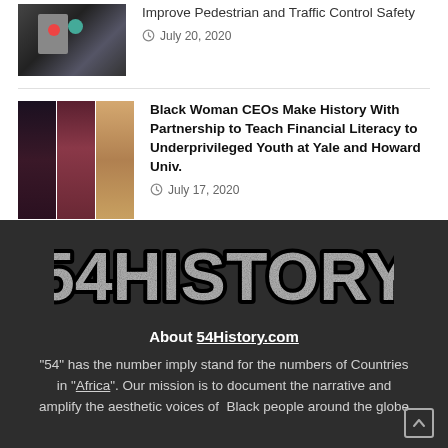[Figure (photo): Partially visible image at top left, appears to be a person with colorful accessories, cropped at top]
Improve Pedestrian and Traffic Control Safety
July 20, 2020
[Figure (photo): Three portrait photos side by side of Black women]
Black Woman CEOs Make History With Partnership to Teach Financial Literacy to Underprivileged Youth at Yale and Howard Univ.
July 17, 2020
[Figure (logo): 54HISTORY logo in large distressed/grunge style font with thick black outline on dark grey background]
About 54History.com
"54" has the number imply stand for the numbers of Countries in "Africa". Our mission is to document the narrative and amplify the aesthetic voices of Black people around the globe